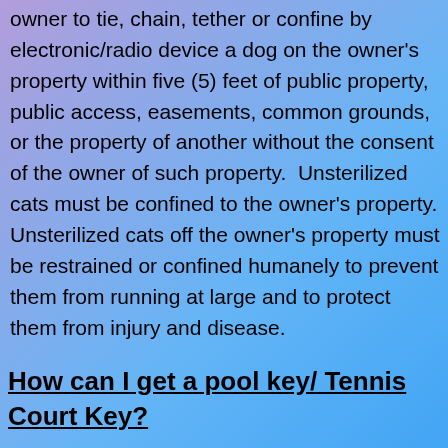owner to tie, chain, tether or confine by electronic/radio device a dog on the owner's property within five (5) feet of public property, public access, easements, common grounds, or the property of another without the consent of the owner of such property.  Unsterilized cats must be confined to the owner's property. Unsterilized cats off the owner's property must be restrained or confined humanely to prevent them from running at large and to protect them from injury and disease.
How can I get a pool key/ Tennis Court Key?